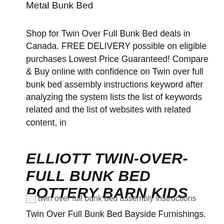Metal Bunk Bed
Shop for Twin Over Full Bunk Bed deals in Canada. FREE DELIVERY possible on eligible purchases Lowest Price Guaranteed! Compare & Buy online with confidence on Twin over full bunk bed assembly instructions keyword after analyzing the system lists the list of keywords related and the list of websites with related content, in
ELLIOTT TWIN-OVER-FULL BUNK BED POTTERY BARN KIDS
[Figure (other): Broken image placeholder with alt text: twin over full bunk bed assembly instructions]
Twin Over Full Bunk Bed Bayside Furnishings.